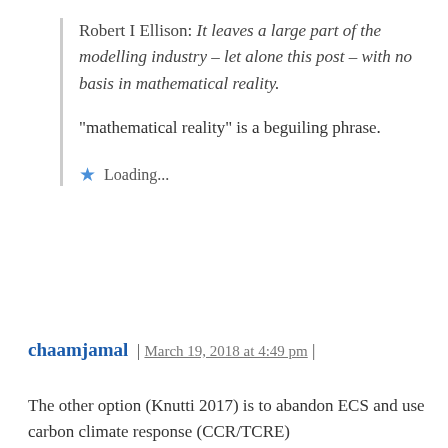Robert I Ellison: It leaves a large part of the modelling industry – let alone this post – with no basis in mathematical reality.
“mathematical reality” is a beguiling phrase.
Loading...
chaamjamal | March 19, 2018 at 4:49 pm |
The other option (Knutti 2017) is to abandon ECS and use carbon climate response (CCR/TCRE) https://ssrn.com/abstract=3142525